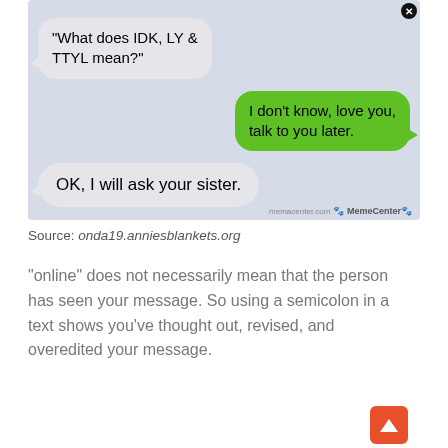[Figure (screenshot): SMS conversation screenshot. Left bubble: '"What does IDK, LY & TTYL mean?"'. Right green bubble: 'I don't know, love you, talk to you later.' Left bubble: 'OK, I will ask your sister.']
Source: onda19.anniesblankets.org
“online” does not necessarily mean that the person has seen your message. So using a semicolon in a text shows you’ve thought out, revised, and overedited your message.
[Figure (screenshot): Bottom of a text message conversation showing 'Text Message' and 'Wed, Jan [x], 1:57 PM' with an orange scroll-up button.]